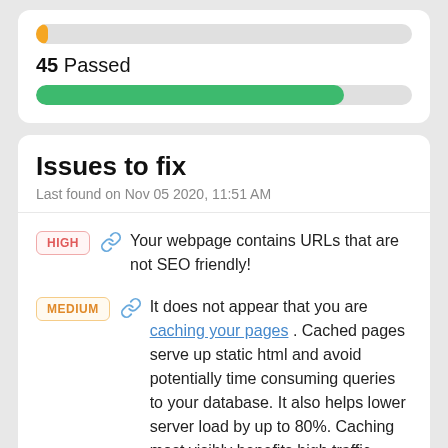[Figure (infographic): Orange progress bar nearly empty at top of card]
45 Passed
[Figure (infographic): Green progress bar mostly full]
Issues to fix
Last found on Nov 05 2020, 11:51 AM
HIGH — Your webpage contains URLs that are not SEO friendly!
MEDIUM — It does not appear that you are caching your pages . Cached pages serve up static html and avoid potentially time consuming queries to your database. It also helps lower server load by up to 80%. Caching most visibly benefits high traffic pages that access a database, but whose content does not